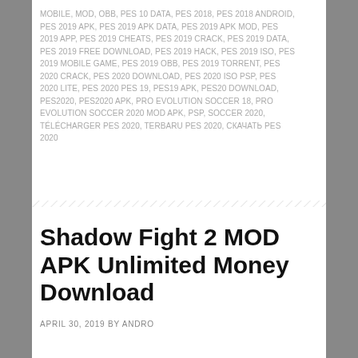MOBILE, MOD, OBB, PES 10 DATA, PES 2018, PES 2018 ANDROID, PES 2019 APK, PES 2019 APK DATA, PES 2019 APK MOD, PES 2019 APP, PES 2019 CHEATS, PES 2019 CRACK, PES 2019 DATA, PES 2019 FREE DOWNLOAD, PES 2019 HACK, PES 2019 ISO, PES 2019 MOBILE GAME, PES 2019 OBB, PES 2019 TORRENT, PES 2020 CRACK, PES 2020 DOWNLOAD, PES 2020 ISO PSP, PES 2020 LITE, PES 2020 PES 19, PES19 APK, PES20 DOWNLOAD, PES2020, PES2020 APK, PRO EVOLUTION SOCCER 18, PRO EVOLUTION SOCCER 2020 MOD APK, PSP, SOCCER 2020, TÉLÉCHARGER PES 2020, TERBARU PES 2020, СКАЧАТЬ PES 2020
Shadow Fight 2 MOD APK Unlimited Money Download
APRIL 30, 2019 BY ANDRO